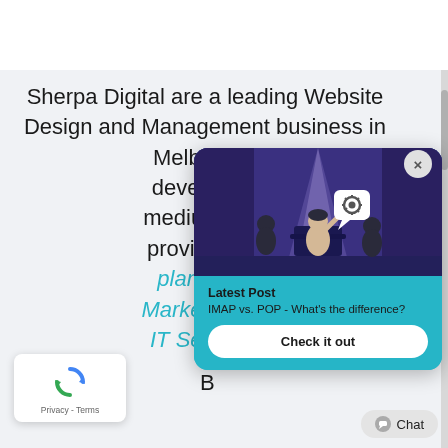Sherpa Digital are a leading Website Design and Management business in Melbourne developing medium size providing W plans and Marketing an IT Services B
[Figure (illustration): Popup card overlay with teal background. Top section shows an illustration of three people on a stage under a spotlight with a speech bubble containing a gear icon. Bottom section has 'Latest Post' label, subtitle 'IMAP vs. POP - What's the difference?', and a white 'Check it out' button.]
[Figure (logo): Google reCAPTCHA logo (rotating arrows icon in blue) with 'Privacy - Terms' text below]
Chat